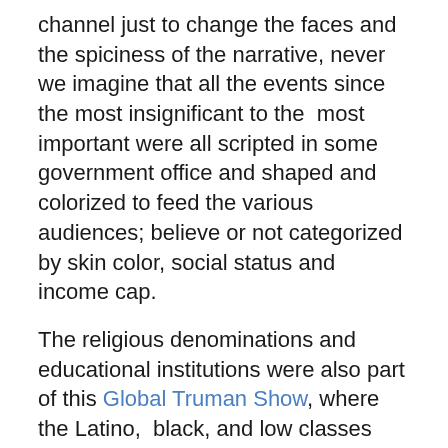channel just to change the faces and the spiciness of the narrative, never we imagine that all the events since the most insignificant to the  most important were all scripted in some government office and shaped and colorized to feed the various audiences; believe or not categorized by skin color, social status and income cap.
The religious denominations and educational institutions were also part of this Global Truman Show, where the Latino,  black, and low classes sectors were given different flavors to their commercials and invitational educational advertisement options, cleverly planting the seeds of apathy for political and social interest, and more importantly emphasizing in army careers and short college degrees.
Don't get surprise to find out that even your local grocery